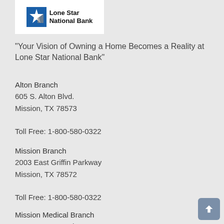[Figure (logo): Lone Star National Bank logo with star icon and bank name text]
"Your Vision of Owning a Home Becomes a Reality at Lone Star National Bank"
Alton Branch
605 S. Alton Blvd.
Mission, TX 78573

Toll Free: 1-800-580-0322
Mission Branch
2003 East Griffin Parkway
Mission, TX 78572

Toll Free: 1-800-580-0322
Mission Medical Branch
1100 S. Bryan Rd
Mission, TX 78572